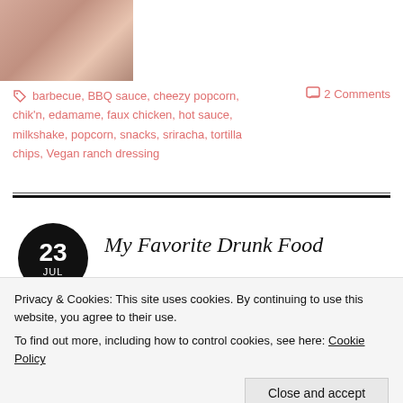[Figure (photo): Partial photo of a woman with curly blonde hair and a smile, cropped to show just the face and top of shoulders against a light background.]
barbecue, BBQ sauce, cheezy popcorn, chik'n, edamame, faux chicken, hot sauce, milkshake, popcorn, snacks, sriracha, tortilla chips, Vegan ranch dressing
2 Comments
My Favorite Drunk Food
Privacy & Cookies: This site uses cookies. By continuing to use this website, you agree to their use.
To find out more, including how to control cookies, see here: Cookie Policy
Close and accept